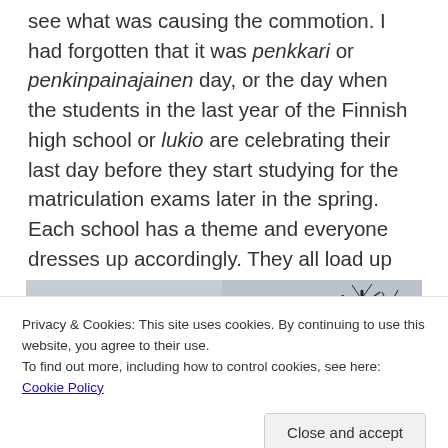see what was causing the commotion. I had forgotten that it was penkkari or penkinpainajainen day, or the day when the students in the last year of the Finnish high school or lukio are celebrating their last day before they start studying for the matriculation exams later in the spring. Each school has a theme and everyone dresses up accordingly. They all load up on trucks and drive through the city, screaming and throwing out candy much to the joy of my children.
[Figure (photo): Outdoor winter photo showing bare tree silhouettes against a grey sky, with a crowd scene at the bottom.]
Privacy & Cookies: This site uses cookies. By continuing to use this website, you agree to their use.
To find out more, including how to control cookies, see here: Cookie Policy